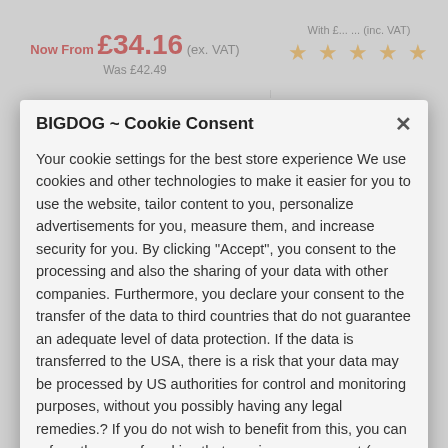Now From £34.16 (ex. VAT)
Was £42.49
[Figure (other): Five gold star rating icons]
BIGDOG ~ Cookie Consent
Your cookie settings for the best store experience We use cookies and other technologies to make it easier for you to use the website, tailor content to you, personalize advertisements for you, measure them, and increase security for you. By clicking "Accept", you consent to the processing and also the sharing of your data with other companies. Furthermore, you declare your consent to the transfer of the data to third countries that do not guarantee an adequate level of data protection. If the data is transferred to the USA, there is a risk that your data may be processed by US authorities for control and monitoring purposes, without you possibly having any legal remedies.? If you do not wish to benefit from this, you can refuse the use of cookies that require your consent (we will then limit ourselves to essential cookies) or adjust the settings at any time. You can find more information on this in the privacy policy.
Cookies Settings
Accept All Cookies